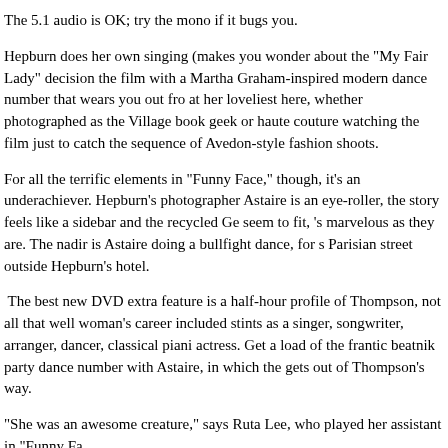The 5.1 audio is OK; try the mono if it bugs you.
Hepburn does her own singing (makes you wonder about the "My Fair Lady" decision the film with a Martha Graham-inspired modern dance number that wears you out fro at her loveliest here, whether photographed as the Village book geek or haute couture watching the film just to catch the sequence of Avedon-style fashion shoots.
For all the terrific elements in "Funny Face," though, it's an underachiever. Hepburn's photographer Astaire is an eye-roller, the story feels like a sidebar and the recycled Ge seem to fit, 's marvelous as they are. The nadir is Astaire doing a bullfight dance, for s Parisian street outside Hepburn's hotel.
The best new DVD extra feature is a half-hour profile of Thompson, not all that well woman's career included stints as a singer, songwriter, arranger, dancer, classical piani actress. Get a load of the frantic beatnik party dance number with Astaire, in which the gets out of Thompson's way.
"She was an awesome creature," says Ruta Lee, who played her assistant in "Funny Fa